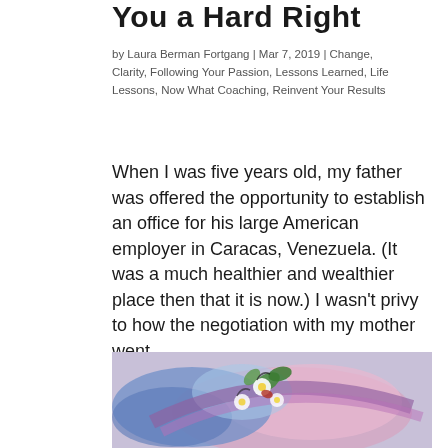You a Hard Right
by Laura Berman Fortgang | Mar 7, 2019 | Change, Clarity, Following Your Passion, Lessons Learned, Life Lessons, Now What Coaching, Reinvent Your Results
When I was five years old, my father was offered the opportunity to establish an office for his large American employer in Caracas, Venezuela. (It was a much healthier and wealthier place then that it is now.) I wasn't privy to how the negotiation with my mother went…
[Figure (illustration): Colorful painting of flowers with blue, pink, purple and green brushstrokes, appearing to be an abstract floral artwork.]